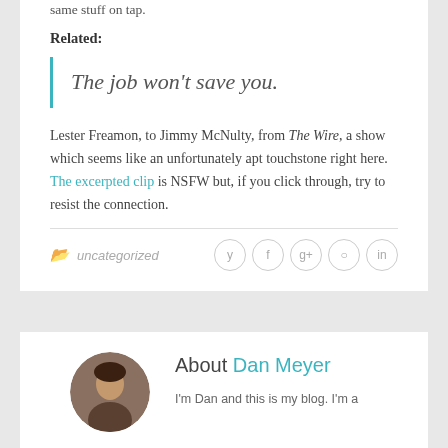same stuff on tap.
Related:
The job won't save you.
Lester Freamon, to Jimmy McNulty, from The Wire, a show which seems like an unfortunately apt touchstone right here. The excerpted clip is NSFW but, if you click through, try to resist the connection.
uncategorized
About Dan Meyer
I'm Dan and this is my blog. I'm a